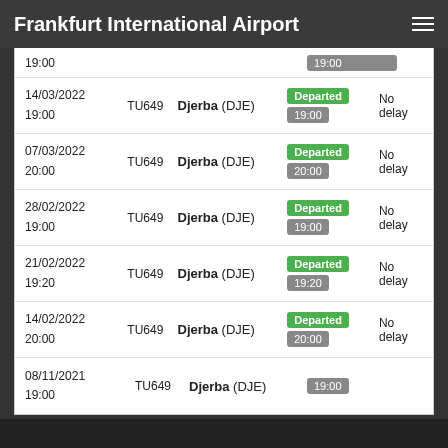Frankfurt International Airport
| Date/Time | Flight | Destination | Status | Delay |
| --- | --- | --- | --- | --- |
| 14/03/2022 19:00 | TU649 | Djerba (DJE) | Departed 19:00 | No delay |
| 07/03/2022 20:00 | TU649 | Djerba (DJE) | Departed 20:00 | No delay |
| 28/02/2022 19:00 | TU649 | Djerba (DJE) | Departed 19:00 | No delay |
| 21/02/2022 19:20 | TU649 | Djerba (DJE) | Departed 19:20 | No delay |
| 14/02/2022 20:00 | TU649 | Djerba (DJE) | Departed 20:00 | No delay |
| 08/11/2021 19:00 | TU649 | Djerba (DJE) | 19:00 |  |